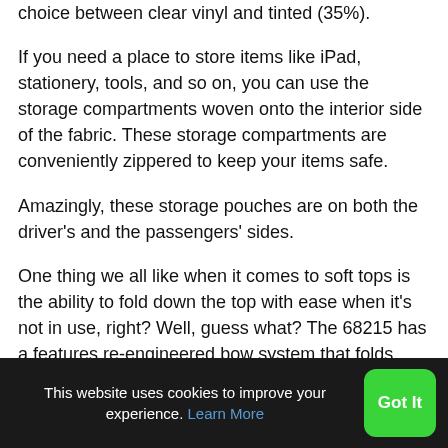choice between clear vinyl and tinted (35%).
If you need a place to store items like iPad, stationery, tools, and so on, you can use the storage compartments woven onto the interior side of the fabric. These storage compartments are conveniently zippered to keep your items safe.
Amazingly, these storage pouches are on both the driver's and the passengers' sides.
One thing we all like when it comes to soft tops is the ability to fold down the top with ease when it's not in use, right? Well, guess what? The 68215 has a features re-engineered bow system that folds down effortlessly. The installation is also
This website uses cookies to improve your experience. Learn More  Got It